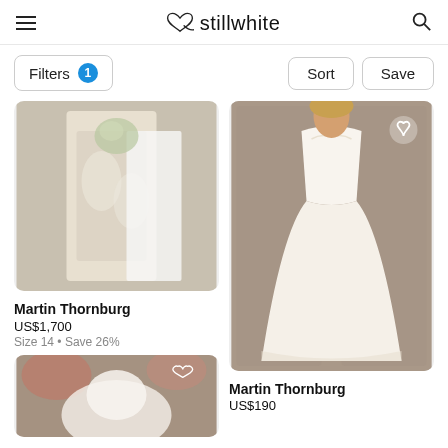stillwhite
Filters 1  Sort  Save
[Figure (photo): Wedding dress photo left column top - lace gown with cape/veil, outdoor setting]
Martin Thornburg
US$1,700
Size 14 • Save 26%
[Figure (photo): Wedding dress photo right column - strapless A-line ball gown, in store fitting room]
Martin Thornburg
US$190
[Figure (photo): Wedding dress photo bottom left - off-shoulder gown, outdoor setting with flowers]